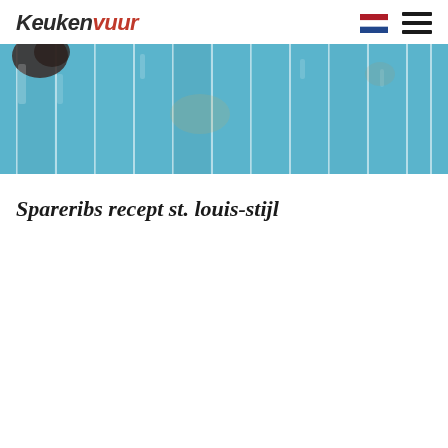Keukenvuur
[Figure (photo): Close-up of blue glazed ceramic tiles or rectangular panels arranged vertically, with a dark object visible in the top-left corner]
Spareribs recept st. louis-stijl